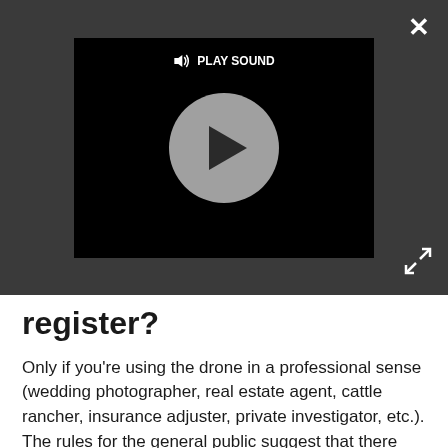[Figure (screenshot): Video player UI with dark gray overlay background, black video frame, gray circular play button, and 'PLAY SOUND' badge at top. Close (X) button top-right, expand arrows bottom-right.]
register?
Only if you're using the drone in a professional sense (wedding photographer, real estate agent, cattle rancher, insurance adjuster, private investigator, etc.). The rules for the general public suggest that there should be an educational aspect to the registration to encourage safe drone use, but there will be no test and no qualifications for hobbyists that registering, except being older than 13.
Commercial drone operators, who will need valid identification, will need to take a written, drone-specific, aeronautical knowledge test. Operators will